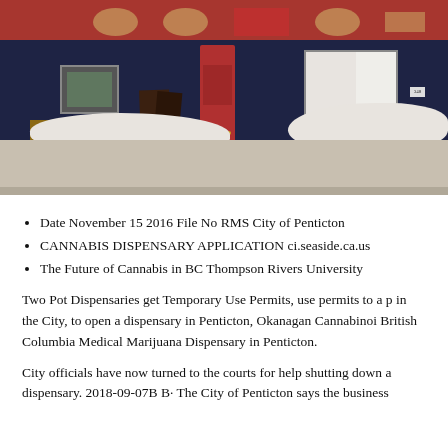[Figure (photo): Exterior photo of a cannabis dispensary storefront in winter, dark navy blue building with red door numbered 348, snow piled on sidewalk, wooden bench and sandwich board sign visible outside.]
Date November 15 2016 File No RMS City of Penticton
CANNABIS DISPENSARY APPLICATION ci.seaside.ca.us
The Future of Cannabis in BC Thompson Rivers University
Two Pot Dispensaries get Temporary Use Permits, use permits to a p in the City, to open a dispensary in Penticton, Okanagan Cannabinoi British Columbia Medical Marijuana Dispensary in Penticton.
City officials have now turned to the courts for help shutting down a dispensary. 2018-09-07B B· The City of Penticton says the business